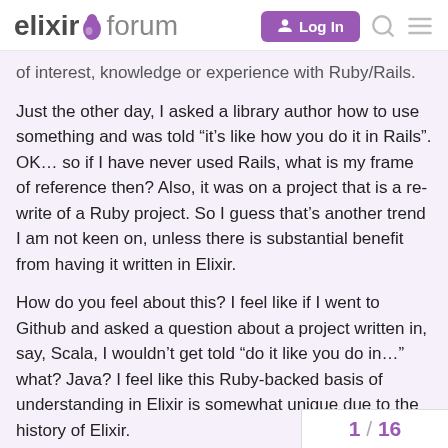elixir forum — Log In
of interest, knowledge or experience with Ruby/Rails.
Just the other day, I asked a library author how to use something and was told “it’s like how you do it in Rails”. OK… so if I have never used Rails, what is my frame of reference then? Also, it was on a project that is a re-write of a Ruby project. So I guess that’s another trend I am not keen on, unless there is substantial benefit from having it written in Elixir.
How do you feel about this? I feel like if I went to Github and asked a question about a project written in, say, Scala, I wouldn’t get told “do it like you do in…” what? Java? I feel like this Ruby-backed basis of understanding in Elixir is somewhat unique due to the history of Elixir.
Again, not that it’s a necessarily bad thing… I just feel somewhat “out of touch” on some Elixir topics and conversations due to not having any background in Ruby/Rails.
Or I could be totally inventing this… 😉
1 / 16